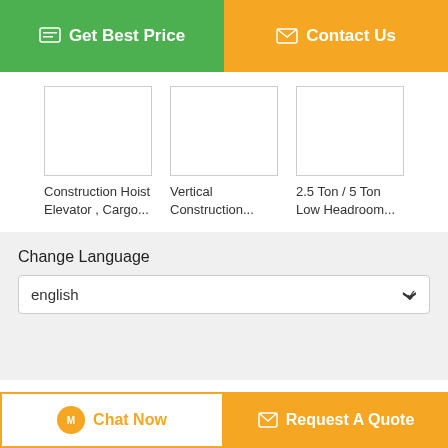[Figure (screenshot): Green 'Get Best Price' button with chat icon on the left, and orange 'Contact Us' button with envelope icon on the right]
[Figure (screenshot): Three product thumbnail images in a row (blank/empty white boxes with borders)]
Construction Hoist Elevator , Cargo...
Vertical Construction...
2.5 Ton / 5 Ton Low Headroom...
Change Language
english
Home | About Us | Contact Us
Desktop View
Copyright © 2015 - 2022 garyhaseldine.com. All rights reserved. Developed by ECER
[Figure (screenshot): Bottom bar: 'Chat Now' button (white with orange border) and 'Request A Quote' button (orange)]